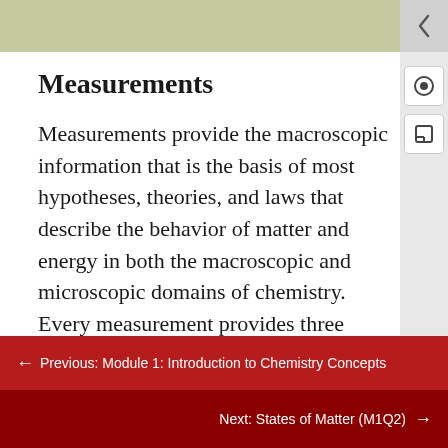Measurements
Measurements provide the macroscopic information that is the basis of most hypotheses, theories, and laws that describe the behavior of matter and energy in both the macroscopic and microscopic domains of chemistry. Every measurement provides three kinds of information: the size or magnitude of the measurement (a number); a standard of comparison for the measurement (a unit); and
← Previous: Module 1: Introduction to Chemistry Concepts
Next: States of Matter (M1Q2) →